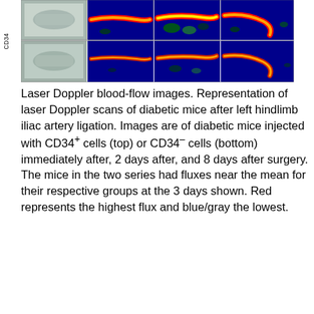[Figure (photo): Laser Doppler blood-flow images showing two rows of scans. Top row (CD34+ cells): grayscale mouse limb image followed by three false-color (blue/green/red) laser Doppler scan images. Bottom row (CD34- cells): similar series of four images. Images show scans immediately after, 2 days after, and 8 days after iliac artery ligation surgery.]
Laser Doppler blood-flow images. Representation of laser Doppler scans of diabetic mice after left hindlimb iliac artery ligation. Images are of diabetic mice injected with CD34+ cells (top) or CD34- cells (bottom) immediately after, 2 days after, and 8 days after surgery. The mice in the two series had fluxes near the mean for their respective groups at the 3 days shown. Red represents the highest flux and blue/gray the lowest.